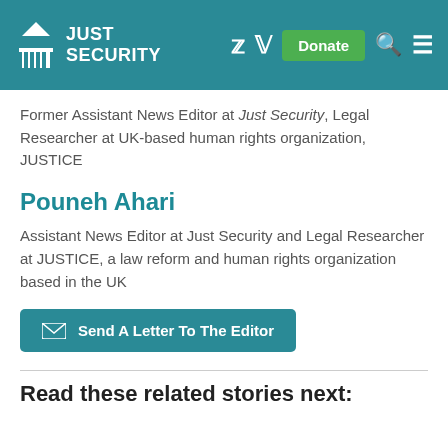Just Security
Former Assistant News Editor at Just Security, Legal Researcher at UK-based human rights organization, JUSTICE
Pouneh Ahari
Assistant News Editor at Just Security and Legal Researcher at JUSTICE, a law reform and human rights organization based in the UK
Send A Letter To The Editor
Read these related stories next: